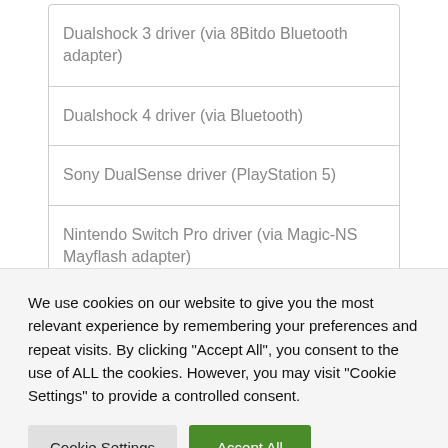| Dualshock 3 driver (via 8Bitdo Bluetooth adapter) |
| Dualshock 4 driver (via Bluetooth) |
| Sony DualSense driver (PlayStation 5) |
| Nintendo Switch Pro driver (via Magic-NS Mayflash adapter) |
iOS device
We use cookies on our website to give you the most relevant experience by remembering your preferences and repeat visits. By clicking “Accept All”, you consent to the use of ALL the cookies. However, you may visit "Cookie Settings" to provide a controlled consent.
Cookie Settings | Accept All